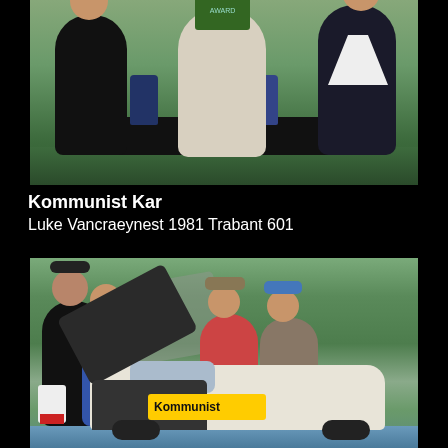[Figure (photo): Three people standing outdoors at an event. A woman on the left in black clothing, a man in the center in light clothing holding a green placard or award, and a man on the right in a dark blazer. A dark table is visible behind them with a green grassy background.]
Kommunist Kar
Luke Vancraeynest 1981 Trabant 601
[Figure (photo): Outdoor scene showing a white Trabant 601 with its hood open. Several people stand around the car. A yellow 'Kommunist' sign is visible on the car. Trees and water are visible in the background.]